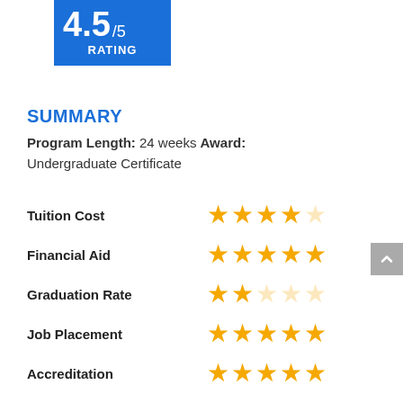[Figure (infographic): Blue rating box showing 4.5/5 RATING]
SUMMARY
Program Length: 24 weeks Award: Undergraduate Certificate
| Category | Stars |
| --- | --- |
| Tuition Cost | 4/5 |
| Financial Aid | 5/5 |
| Graduation Rate | 2/5 |
| Job Placement | 4/5 |
| Accreditation | 4/5 |
| In-School Spa | 5/5 |